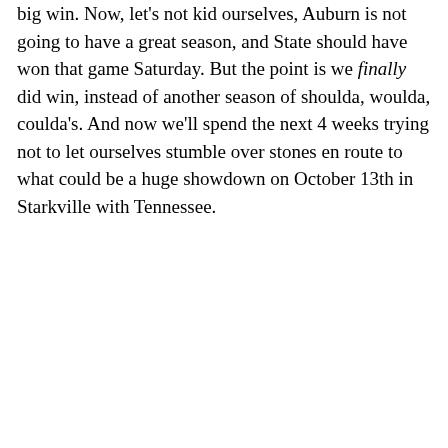big win. Now, let's not kid ourselves, Auburn is not going to have a great season, and State should have won that game Saturday. But the point is we finally did win, instead of another season of shoulda, woulda, coulda's. And now we'll spend the next 4 weeks trying not to let ourselves stumble over stones en route to what could be a huge showdown on October 13th in Starkville with Tennessee.